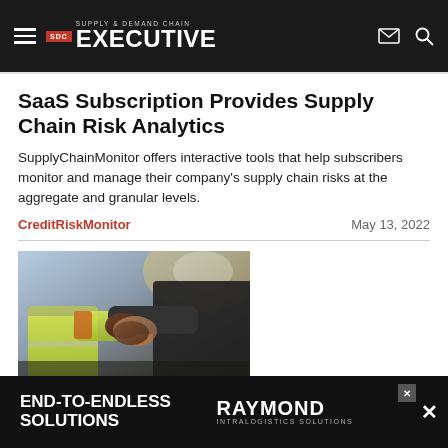Supply & Demand Chain Executive
SaaS Subscription Provides Supply Chain Risk Analytics
SupplyChainMonitor offers interactive tools that help subscribers monitor and manage their company's supply chain risks at the aggregate and granular levels.
CreditRiskMonitor   May 13, 2022
[Figure (photo): Two people shaking hands, one wearing a high-visibility vest, industrial/warehouse setting]
Warehousing
[Figure (infographic): Advertisement banner: END-TO-ENDLESS SOLUTIONS — RAYMOND INTRALOGISTICS SOLUTIONS]